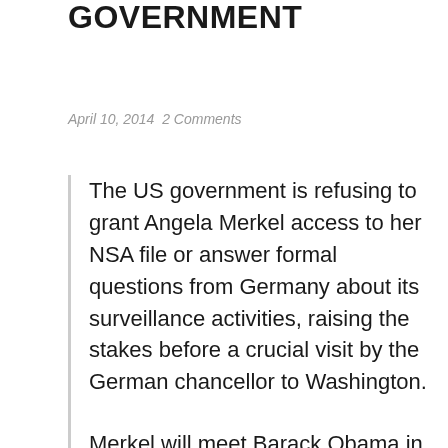GOVERNMENT
April 10, 2014  2 Comments
The US government is refusing to grant Angela Merkel access to her NSA file or answer formal questions from Germany about its surveillance activities, raising the stakes before a crucial visit by the German chancellor to Washington.
Merkel will meet Barack Obama in three weeks, on her first visit to the